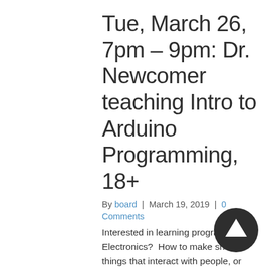Tue, March 26, 7pm – 9pm: Dr. Newcomer teaching Intro to Arduino Programming, 18+
By board | March 19, 2019 | 0 Comments
Interested in learning programming? Electronics?  How to make shiny things that interact with people, or embedded devices that do things automatically for you? Maybe someday even creating electronic minions to carry out your maniacal